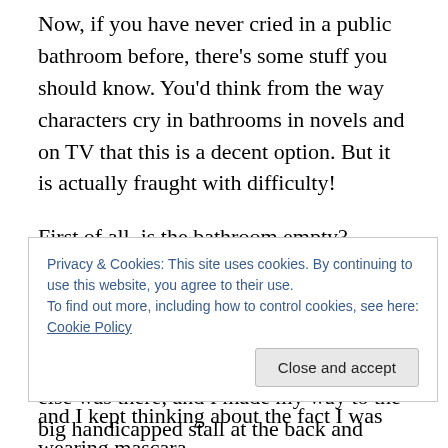Now, if you have never cried in a public bathroom before, there's some stuff you should know. You'd think from the way characters cry in bathrooms in novels and on TV that this is a decent option. But it is actually fraught with difficulty!
First of all, is the bathroom empty? Because if it's not, you have to cry very, very quietly. Or you might be interrupted mid-cry. Luckily I didn't have this problem. It was late enough that no one else was there, and I made my way to the big handicapped stall at the back and locked the door.
Privacy & Cookies: This site uses cookies. By continuing to use this website, you agree to their use.
To find out more, including how to control cookies, see here: Cookie Policy
and I kept thinking about the fact I was wearing mascara,